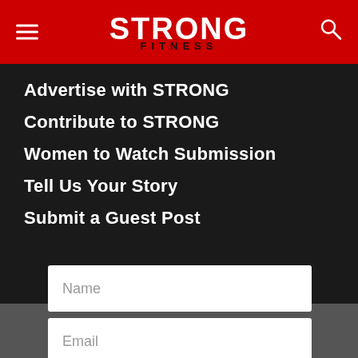STRONG FITNESS
Advertise with STRONG
Contribute to STRONG
Women to Watch Submission
Tell Us Your Story
Submit a Guest Post
Name
Email
SUBSC
English